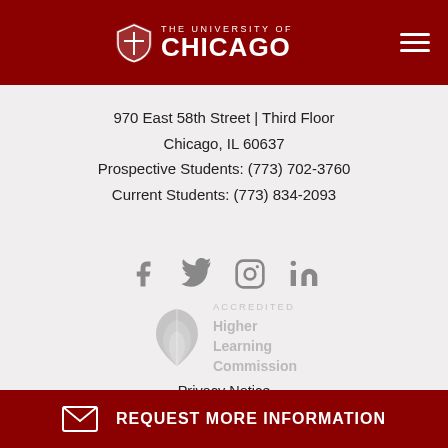The University of Chicago
970 East 58th Street | Third Floor
Chicago, IL 60637
Prospective Students: (773) 702-3760
Current Students: (773) 834-2093
[Figure (infographic): Social media icons: Facebook, Twitter, Instagram, LinkedIn]
[Figure (logo): Higher Learning Commission accreditation badge with leaf logo]
Privacy Notice
Non-Discrimination Statement
Sitemap
© 2022 The University of Chicago
REQUEST MORE INFORMATION